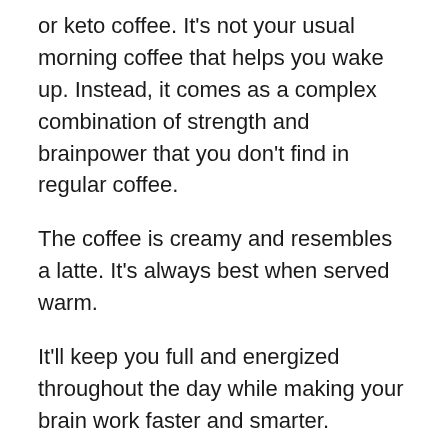or keto coffee. It's not your usual morning coffee that helps you wake up. Instead, it comes as a complex combination of strength and brainpower that you don't find in regular coffee.
The coffee is creamy and resembles a latte. It's always best when served warm.
It'll keep you full and energized throughout the day while making your brain work faster and smarter.
Many people may think that bulletproof coffee is a new concept, but it has existed for much longer. Traditionally, people consumed butter